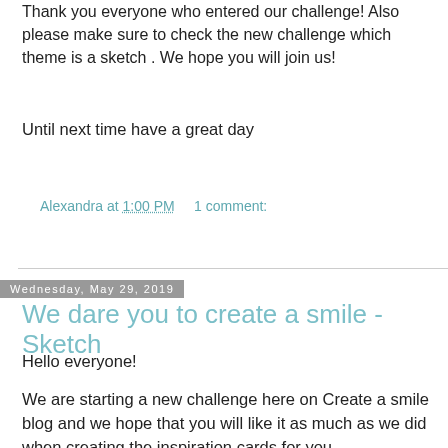Thank you everyone who entered our challenge! Also please make sure to check the new challenge which theme is a sketch . We hope you will join us!
Until next time have a great day
Alexandra at 1:00 PM    1 comment:
Share
Wednesday, May 29, 2019
We dare you to create a smile - Sketch
Hello everyone!
We are starting a new challenge here on Create a smile blog and we hope that you will like it as much as we did when creating the inspiration cards for you .